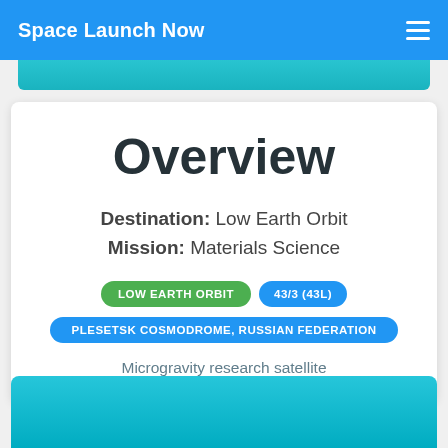Space Launch Now
Overview
Destination: Low Earth Orbit
Mission: Materials Science
LOW EARTH ORBIT
43/3 (43L)
PLESETSK COSMODROME, RUSSIAN FEDERATION
Microgravity research satellite